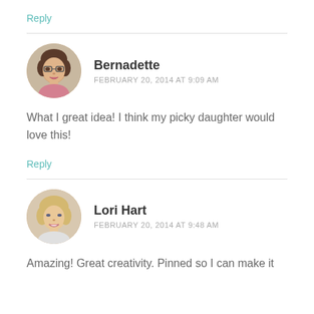Reply
Bernadette
FEBRUARY 20, 2014 AT 9:09 AM
What I great idea! I think my picky daughter would love this!
Reply
Lori Hart
FEBRUARY 20, 2014 AT 9:48 AM
Amazing! Great creativity. Pinned so I can make it